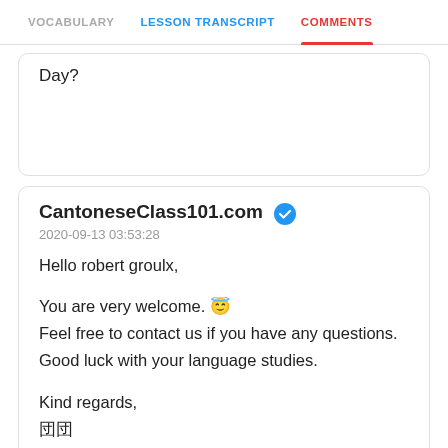VOCABULARY   LESSON TRANSCRIPT   COMMENTS
Day?
CantoneseClass101.com ✔
2020-09-13 03:53:28

Hello robert groulx,

You are very welcome. 😇
Feel free to contact us if you have any questions.
Good luck with your language studies.

Kind regards,
団団
Team CantoneseClass101.com